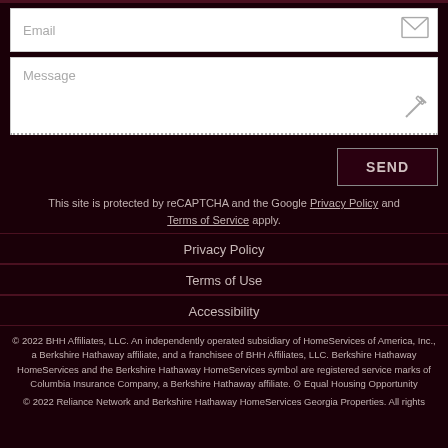[Figure (screenshot): Email input field with envelope icon]
[Figure (screenshot): Message textarea with pencil/edit icon]
SEND
This site is protected by reCAPTCHA and the Google Privacy Policy and Terms of Service apply.
Privacy Policy
Terms of Use
Accessibility
© 2022 BHH Affiliates, LLC. An independently operated subsidiary of HomeServices of America, Inc., a Berkshire Hathaway affiliate, and a franchisee of BHH Affiliates, LLC. Berkshire Hathaway HomeServices and the Berkshire Hathaway HomeServices symbol are registered service marks of Columbia Insurance Company, a Berkshire Hathaway affiliate. ⊕ Equal Housing Opportunity
© 2022 Reliance Network and Berkshire Hathaway HomeServices Georgia Properties. All rights